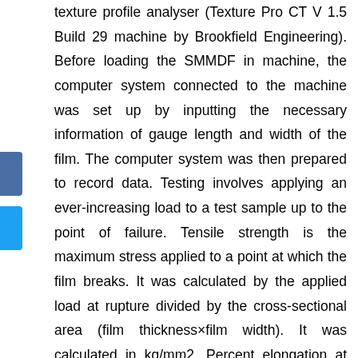texture profile analyser (Texture Pro CT V 1.5 Build 29 machine by Brookfield Engineering). Before loading the SMMDF in machine, the computer system connected to the machine was set up by inputting the necessary information of gauge length and width of the film. The computer system was then prepared to record data. Testing involves applying an ever-increasing load to a test sample up to the point of failure. Tensile strength is the maximum stress applied to a point at which the film breaks. It was calculated by the applied load at rupture divided by the cross-sectional area (film thickness×film width). It was calculated in kg/mm2. Percent elongation at break (% E) was obtained by dividing the extension at the moment of rupture of film by the initial length of film and multiplying it by 100. Young's modulus (E)